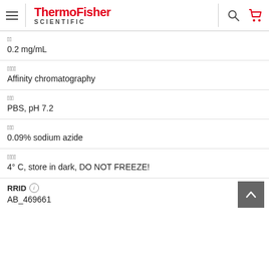ThermoFisher SCIENTIFIC [hamburger menu, search, cart icons]
[label chars] 0.2 mg/mL
[label chars] Affinity chromatography
[label chars] PBS, pH 7.2
[label chars] 0.09% sodium azide
[label chars] 4° C, store in dark, DO NOT FREEZE!
RRID AB_469661